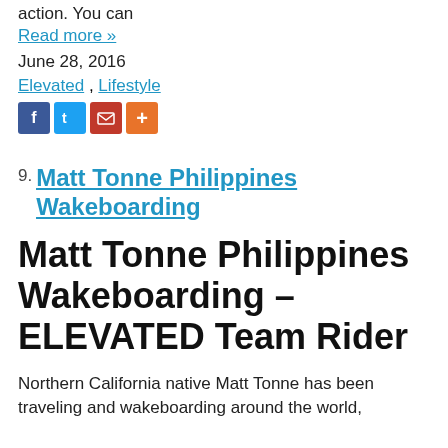action. You can
Read more »
June 28, 2016
Elevated , Lifestyle
[Figure (other): Social share icons: Facebook, Twitter, Email, More]
9. Matt Tonne Philippines Wakeboarding
Matt Tonne Philippines Wakeboarding – ELEVATED Team Rider
Northern California native Matt Tonne has been traveling and wakeboarding around the world,